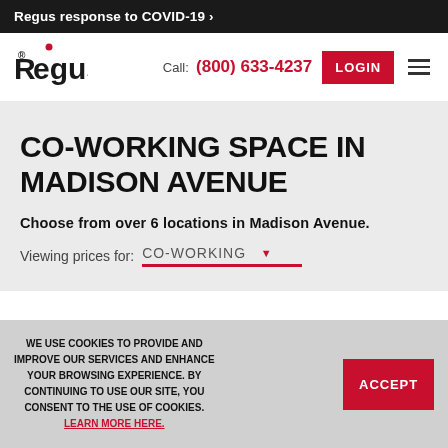Regus response to COVID-19 ›
[Figure (logo): Regus logo with red dot above letter i]
Call: (800) 633-4237
LOGIN
CO-WORKING SPACE IN MADISON AVENUE
Choose from over 6 locations in Madison Avenue.
Viewing prices for: CO-WORKING ▼
WE USE COOKIES TO PROVIDE AND IMPROVE OUR SERVICES AND ENHANCE YOUR BROWSING EXPERIENCE. BY CONTINUING TO USE OUR SITE, YOU CONSENT TO THE USE OF COOKIES. LEARN MORE HERE.